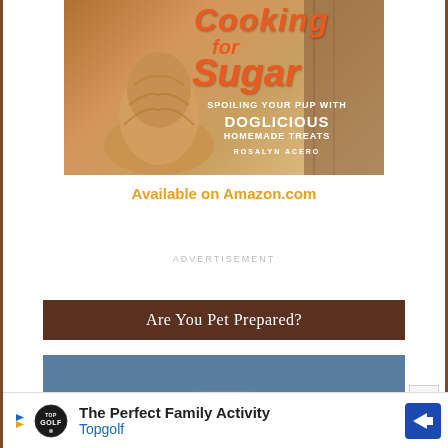[Figure (photo): Book cover for 'Cooking for Sugar: Spoiling Your Pup with Doglicious Homemade Treats' by Rosalyn Acero, showing a fluffy golden dog from behind at a door]
Available on Amazon.com
ADVERTISEMENT
Are You Pet Prepared?
[Figure (photo): Partial blue-background image at bottom of page]
[Figure (infographic): Topgolf advertisement banner: 'The Perfect Family Activity — Topgolf' with play icon, Topgolf logo, and directional arrow icon]